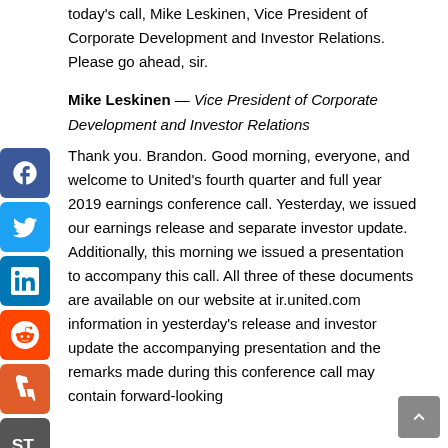today's call, Mike Leskinen, Vice President of Corporate Development and Investor Relations. Please go ahead, sir.
Mike Leskinen — Vice President of Corporate Development and Investor Relations
Thank you. Brandon. Good morning, everyone, and welcome to United's fourth quarter and full year 2019 earnings conference call. Yesterday, we issued our earnings release and separate investor update. Additionally, this morning we issued a presentation to accompany this call. All three of these documents are available on our website at ir.united.com information in yesterday's release and investor update the accompanying presentation and the remarks made during this conference call may contain forward-looking statements, which represent the company's current